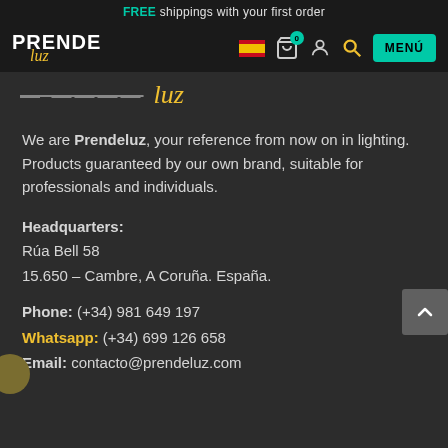FREE shippings with your first order
[Figure (logo): Prendeluz logo with navigation bar including flag icon, cart with 0 badge, user icon, search icon, and MENÚ button]
[Figure (logo): Large partially visible Prendeluz logo in yellow italic script]
We are Prendeluz, your reference from now on in lighting. Products guaranteed by our own brand, suitable for professionals and individuals.
Headquarters:
Rúa Bell 58
15.650 – Cambre, A Coruña. España.
Phone: (+34) 981 649 197
Whatsapp: (+34) 699 126 658
Email: contacto@prendeluz.com